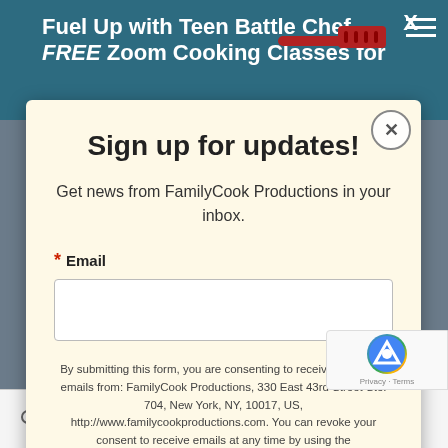Fuel Up with Teen Battle Chef, FREE Zoom Cooking Classes for
Sign up for updates!
Get news from FamilyCook Productions in your inbox.
* Email
By submitting this form, you are consenting to receive marketing emails from: FamilyCook Productions, 330 East 43rd Street Ste. 704, New York, NY, 10017, US, http://www.familycookproductions.com. You can revoke your consent to receive emails at any time by using the SafeUnsubscribe® link, found at the bottom of every email. Emails are serviced by Constant Contact.
Search